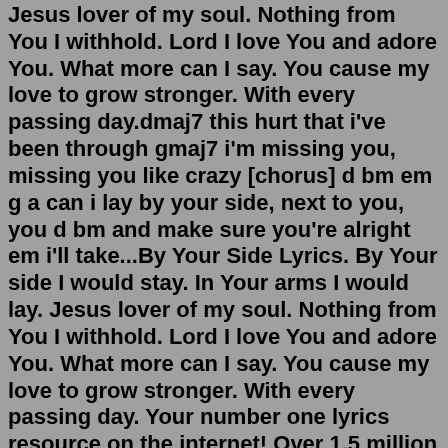Jesus lover of my soul. Nothing from You I withhold. Lord I love You and adore You. What more can I say. You cause my love to grow stronger. With every passing day.dmaj7 this hurt that i've been through gmaj7 i'm missing you, missing you like crazy [chorus] d bm em g a can i lay by your side, next to you, you d bm and make sure you're alright em i'll take...By Your Side Lyrics. By Your side I would stay. In Your arms I would lay. Jesus lover of my soul. Nothing from You I withhold. Lord I love You and adore You. What more can I say. You cause my love to grow stronger. With every passing day. Your number one lyrics resource on the internet! Over 1.5 million (!) lyrics. Content is updated by the minute. Keeps any music lover entertained. Featured Songs . Stay With Me lyrics Calvin Harris, Justin Timberlake and Halsey feat. Pharrell Williams. Montero (Call Me By Your Name) lyrics Years & Years.Side step right left to my beat (heartbeat) Get it, let it roll. Smooth like butter Pull you in like no other Don't need no Usher